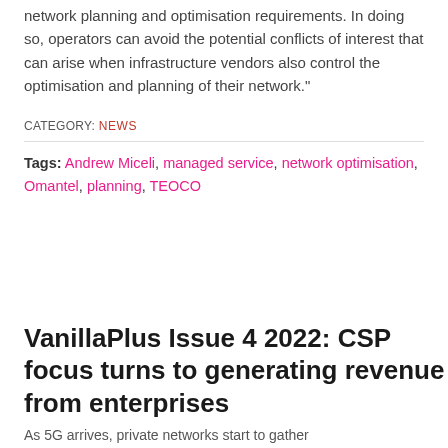network planning and optimisation requirements. In doing so, operators can avoid the potential conflicts of interest that can arise when infrastructure vendors also control the optimisation and planning of their network."
CATEGORY: NEWS
Tags: Andrew Miceli, managed service, network optimisation, Omantel, planning, TEOCO
VanillaPlus Issue 4 2022: CSP focus turns to generating revenue from enterprises
As 5G arrives, private networks start to gather